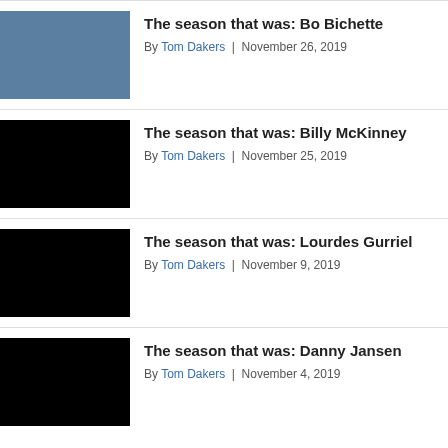[Figure (photo): Bo Bichette baseball player in white uniform celebrating]
The season that was: Bo Bichette
By Tom Dakers | November 26, 2019
[Figure (photo): Black placeholder image for Billy McKinney article]
The season that was: Billy McKinney
By Tom Dakers | November 25, 2019
[Figure (photo): Black placeholder image for Lourdes Gurriel article]
The season that was: Lourdes Gurriel
By Tom Dakers | November 9, 2019
[Figure (photo): Black placeholder image for Danny Jansen article]
The season that was: Danny Jansen
By Tom Dakers | November 4, 2019